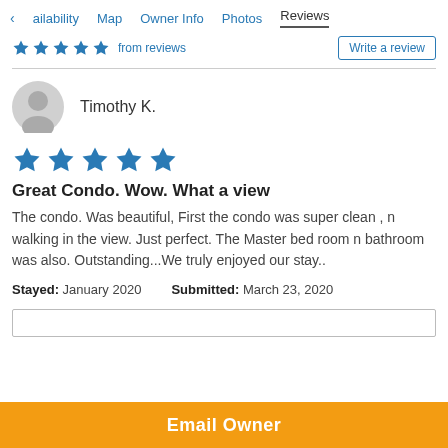< ailability   Map   Owner Info   Photos   Reviews
from reviews   Write a review
Timothy K.
[Figure (other): Five blue stars rating]
Great Condo. Wow. What a view
The condo. Was beautiful, First the condo was super clean , n walking in the view. Just perfect. The Master bed room n bathroom was also. Outstanding...We truly enjoyed our stay..
Stayed: January 2020   Submitted: March 23, 2020
Email Owner